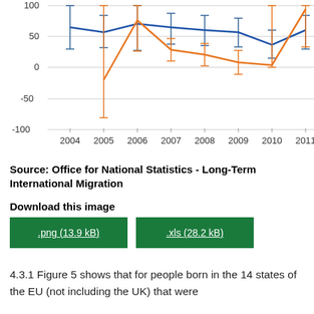[Figure (line-chart): ]
Source: Office for National Statistics - Long-Term International Migration
Download this image
.png (13.9 kB)
.xls (28.2 kB)
4.3.1 Figure 5 shows that for people born in the 14 states of the EU (not including the UK) that were